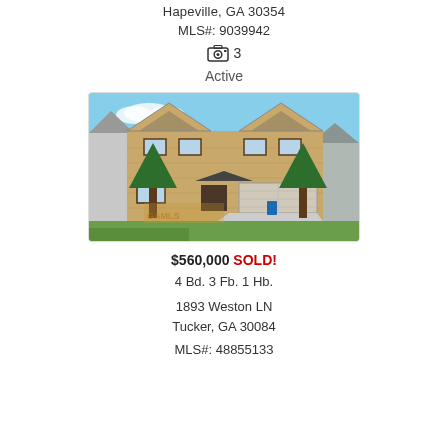Hapeville, GA 30354
MLS#: 9039942
📷 3
Active
[Figure (photo): Two-story brick house with three-car garage, green landscaping, and driveway]
$560,000 SOLD!
4 Bd. 3 Fb. 1 Hb.
1893 Weston LN
Tucker, GA 30084
MLS#: 48855133